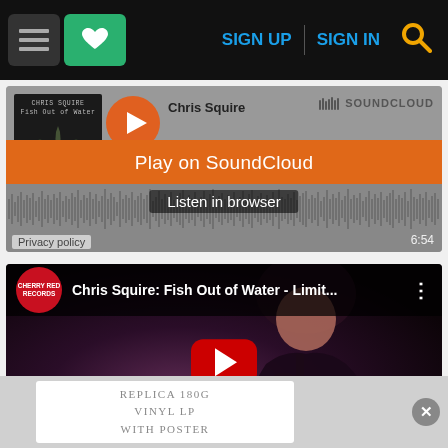[Figure (screenshot): Website navigation bar with hamburger menu, green heart/favorites button, SIGN UP and SIGN IN links in blue, and orange search icon on dark background]
[Figure (screenshot): SoundCloud embedded player for Chris Squire with album art, orange 'Play on SoundCloud' button overlay, 'Listen in browser' button, waveform, and 6:54 duration]
[Figure (screenshot): YouTube embedded video player: Cherry Red Records - Chris Squire: Fish Out of Water - Limit... with red YouTube play button on dark background showing performer with guitar]
[Figure (screenshot): Partial advertisement banner at bottom: 'REPLICA 180G VINYL LP WITH POSTER' text on white background with close X button]